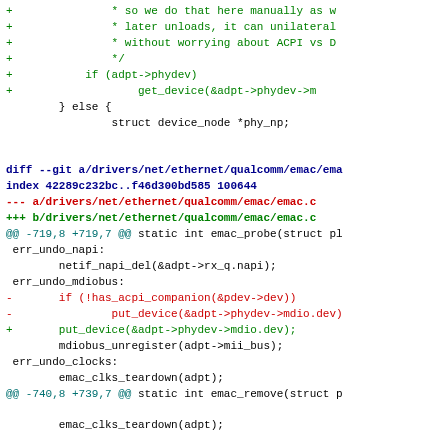Diff/patch code fragment showing git diff for drivers/net/ethernet/qualcomm/emac/emac.c with added/removed lines in green/red and context in black/blue